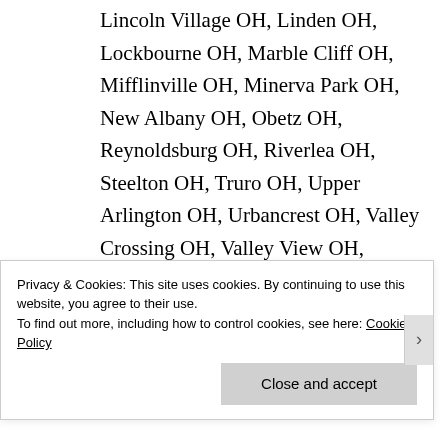Lincoln Village OH, Linden OH, Lockbourne OH, Marble Cliff OH, Mifflinville OH, Minerva Park OH, New Albany OH, Obetz OH, Reynoldsburg OH, Riverlea OH, Steelton OH, Truro OH, Upper Arlington OH, Urbancrest OH, Valley Crossing OH, Valley View OH, Westerville OH, Whitehall OH, Worthington OH and all
Privacy & Cookies: This site uses cookies. By continuing to use this website, you agree to their use.
To find out more, including how to control cookies, see here: Cookie Policy